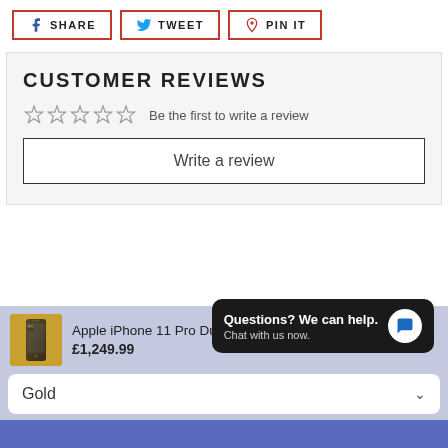[Figure (infographic): Social sharing buttons: SHARE (Facebook), TWEET (Twitter), PIN IT (Pinterest) with red borders]
CUSTOMER REVIEWS
☆☆☆☆☆ Be the first to write a review
Write a review
[Figure (photo): Apple iPhone 11 Pro gold color product thumbnail]
Apple iPhone 11 Pro Dual Sim 64GB A2217 SIM F... £1,249.99
Gold
Questions? We can help. Chat with us now.